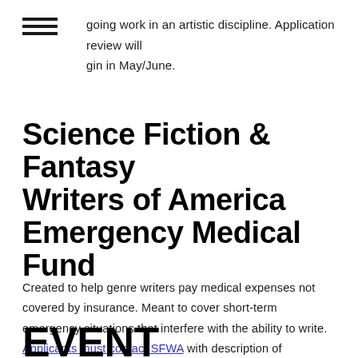going work in an artistic discipline. Application review will gin in May/June.
Science Fiction & Fantasy Writers of America Emergency Medical Fund
Created to help genre writers pay medical expenses not covered by insurance. Meant to cover short-term emergency situations that interfere with the ability to write. Applicants must contact SFWA with description of circumstances, and amount of financial support needed.
EVENT